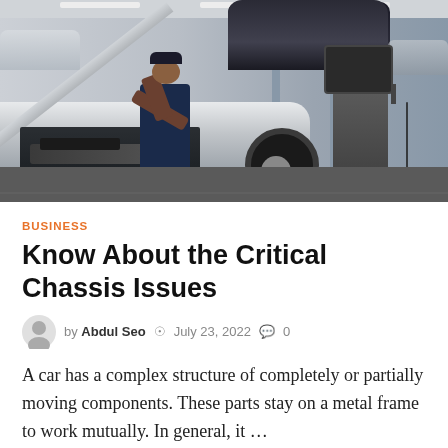[Figure (photo): A mechanic working on a car engine in a professional automotive service garage. The mechanic, wearing a dark blue shirt and cap, leans over the open hood of a white car. In the background, another car is raised on a hydraulic lift. Diagnostic equipment and a monitor are visible on the right side.]
BUSINESS
Know About the Critical Chassis Issues
by Abdul Seo  July 23, 2022  0
A car has a complex structure of completely or partially moving components. These parts stay on a metal frame to work mutually. In general, it …